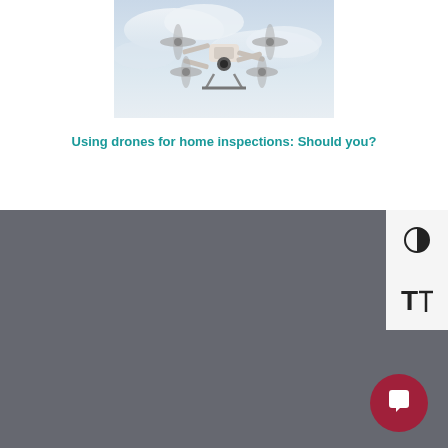[Figure (photo): Drone flying in a cloudy sky, viewed from below]
Using drones for home inspections: Should you?
[Figure (logo): InspectorPro logo in white text on dark grey background]
InspectorPro Insurance
Citadel Insurance Services, LC
2600 West Executive Parkway, Suite 500
Lehi, UT 84043
866-916-9419
Monday - Friday 8am - 5pm MST